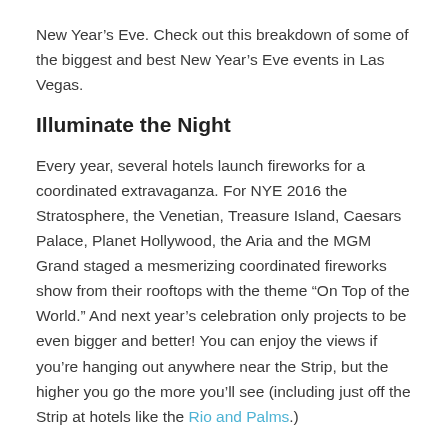New Year’s Eve. Check out this breakdown of some of the biggest and best New Year’s Eve events in Las Vegas.
Illuminate the Night
Every year, several hotels launch fireworks for a coordinated extravaganza. For NYE 2016 the Stratosphere, the Venetian, Treasure Island, Caesars Palace, Planet Hollywood, the Aria and the MGM Grand staged a mesmerizing coordinated fireworks show from their rooftops with the theme “On Top of the World.” And next year’s celebration only projects to be even bigger and better! You can enjoy the views if you’re hanging out anywhere near the Strip, but the higher you go the more you’ll see (including just off the Strip at hotels like the Rio and Palms.)
Hit up a Nightclub Party